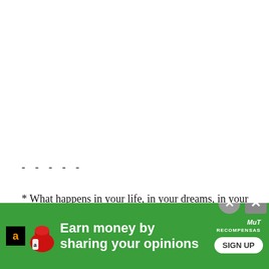- - - - -
* What happens in your life, in your dreams, in your movies, is in many ways less important than how you absorb and process
[Figure (other): Green advertisement banner: 'Earn money by sharing your opinions' with Amazon logo, MyRecompensas branding, and SIGN UP button. Two close buttons visible.]